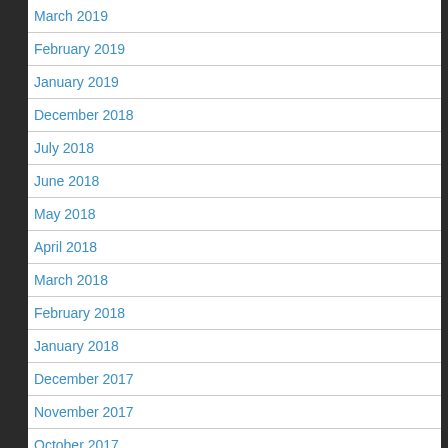March 2019
February 2019
January 2019
December 2018
July 2018
June 2018
May 2018
April 2018
March 2018
February 2018
January 2018
December 2017
November 2017
October 2017
September 2017
July 2017